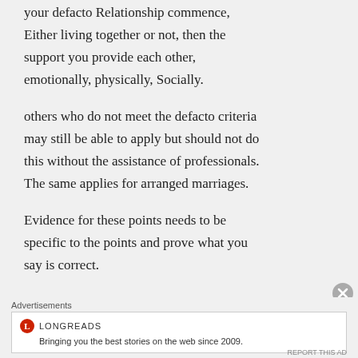your defacto Relationship commence, Either living together or not, then the support you provide each other, emotionally, physically, Socially.
others who do not meet the defacto criteria may still be able to apply but should not do this without the assistance of professionals. The same applies for arranged marriages.
Evidence for these points needs to be specific to the points and prove what you say is correct.
Your future is how you plan to spend your
Advertisements
[Figure (other): Longreads advertisement: Bringing you the best stories on the web since 2009.]